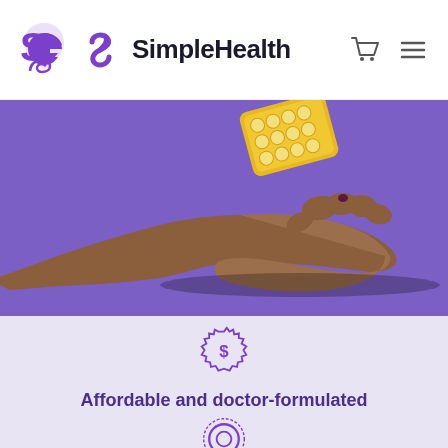SimpleHealth
[Figure (photo): A hand with dark nail polish reaching upward with palm open against a purple background, with a yellow blister pack of birth control pills floating above the hand]
[Figure (illustration): Purple badge/seal icon with dollar sign]
Affordable and doctor-formulated
[Figure (illustration): Purple circular/ring icon with dotted border]